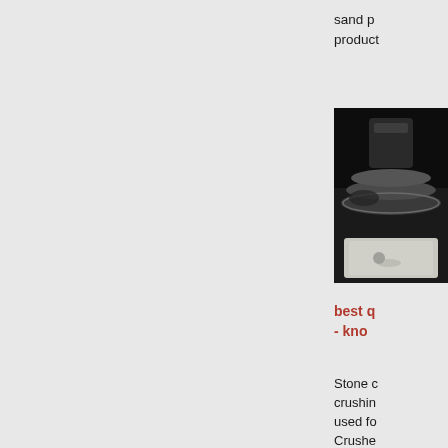sand p... product...
[Figure (photo): Industrial crushing/grinding machinery or stone processing equipment, dark tones with metallic and stone elements visible]
best q... - kno...
Stone c... crushin... used fo... Crushe... provide... price fo...